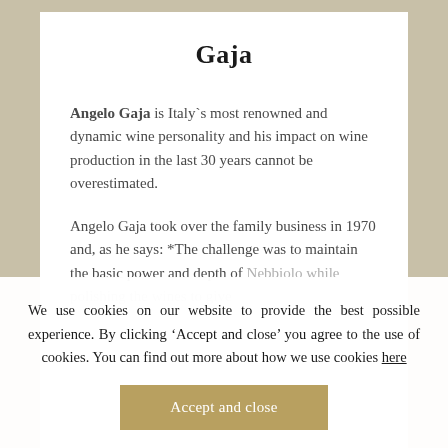Gaja
Angelo Gaja is Italy`s most renowned and dynamic wine personality and his impact on wine production in the last 30 years cannot be overestimated.
Angelo Gaja took over the family business in 1970 and, as he says: *The challenge was to maintain the basic power and depth of Nebbiolo while polishing the wines to give
We use cookies on our website to provide the best possible experience. By clicking ‘Accept and close’ you agree to the use of cookies. You can find out more about how we use cookies here